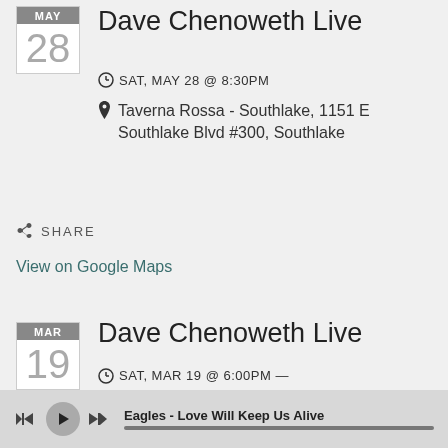Dave Chenoweth Live
SAT, MAY 28 @ 8:30PM
Taverna Rossa - Southlake, 1151 E Southlake Blvd #300, Southlake
SHARE
View on Google Maps
Dave Chenoweth Live
SAT, MAR 19 @ 6:00PM — 9:00PM
Terra Mediterranean - Willow Bend
Eagles - Love Will Keep Us Alive